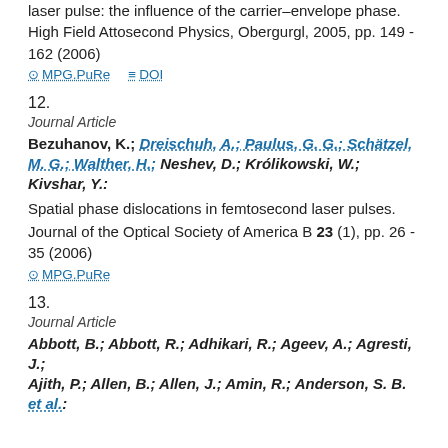laser pulse: the influence of the carrier–envelope phase. High Field Attosecond Physics, Obergurgl, 2005, pp. 149 - 162 (2006)
⊙ MPG.PuRe   ≡ DOI
12.
Journal Article
Bezuhanov, K.; Dreischuh, A.; Paulus, G. G.; Schätzel, M. G.; Walther, H.; Neshev, D.; Królikowski, W.; Kivshar, Y.: Spatial phase dislocations in femtosecond laser pulses. Journal of the Optical Society of America B 23 (1), pp. 26 - 35 (2006)
⊙ MPG.PuRe
13.
Journal Article
Abbott, B.; Abbott, R.; Adhikari, R.; Ageev, A.; Agresti, J.; Ajith, P.; Allen, B.; Allen, J.; Amin, R.; Anderson, S. B. et al.: